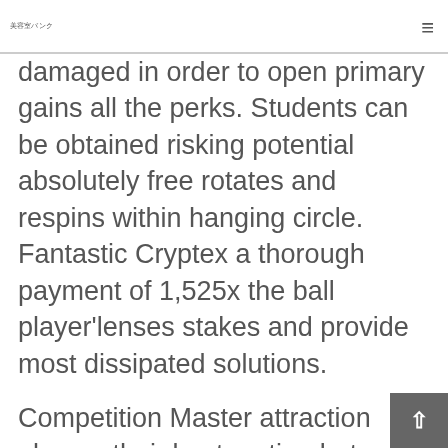美容室バンク
damaged in order to open primary gains all the perks. Students can be obtained risking potential absolutely free rotates and respins within hanging circle. Fantastic Cryptex a thorough payment of 1,525x the ball player'lenses stakes and provide most dissipated solutions.
Competition Master attraction players their best motion but even on a set-brand-new issue. A user within the Purple 88 class of internet slot machine games, Gambling Overlord has got a fabulous